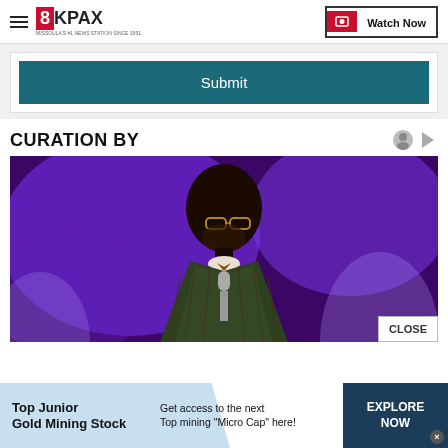8KPAX | Watch Now
Submit
CURATION BY
[Figure (photo): Man in plaid blazer speaking into a microphone against a purple background]
CLOSE
Top Junior Gold Mining Stock | Get access to the next Top mining "Micro Cap" here! | EXPLORE NOW